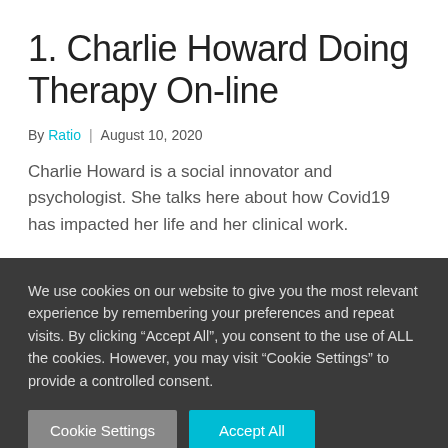1. Charlie Howard Doing Therapy On-line
By Ratio  |  August 10, 2020
Charlie Howard is a social innovator and psychologist. She talks here about how Covid19 has impacted her life and her clinical work.
We use cookies on our website to give you the most relevant experience by remembering your preferences and repeat visits. By clicking “Accept All”, you consent to the use of ALL the cookies. However, you may visit "Cookie Settings" to provide a controlled consent.